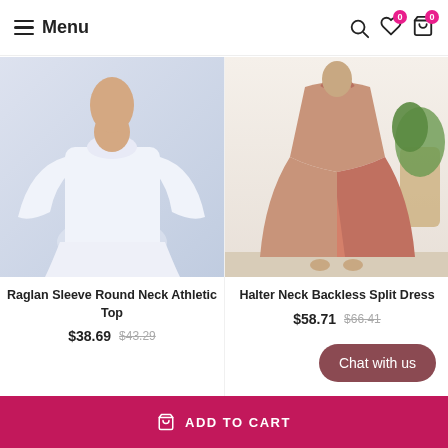Menu
[Figure (photo): White long-sleeve raglan round neck athletic top worn by a model, against a light background]
[Figure (photo): Salmon/pink halter neck backless split maxi dress worn by a model, with a plant in the background]
Raglan Sleeve Round Neck Athletic Top
$38.69  $43.29
Halter Neck Backless Split Dress
$58.71  $66.41
Chat with us
ADD TO CART